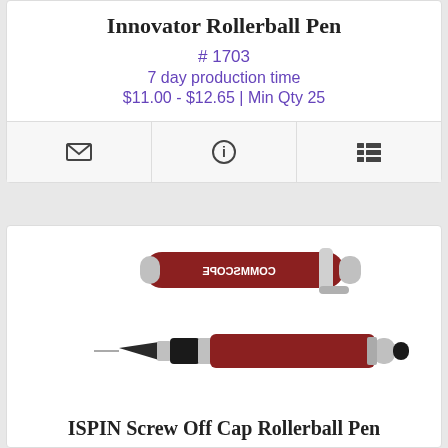Innovator Rollerball Pen
# 1703
7 day production time
$11.00 - $12.65 | Min Qty 25
[Figure (other): Three icon buttons: envelope/email, info circle, and list/details]
[Figure (photo): Product photo of ISPIN Screw Off Cap Rollerball Pen in dark red/burgundy with silver accents, shown disassembled (cap and body) above and assembled pen below]
ISPIN Screw Off Cap Rollerball Pen
# 12203 BR
7 day production time
$11.70 - $13.50 | Min Qty 25